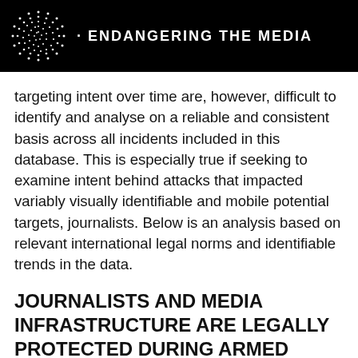ENDANGERING THE MEDIA
targeting intent over time are, however, difficult to identify and analyse on a reliable and consistent basis across all incidents included in this database. This is especially true if seeking to examine intent behind attacks that impacted variably visually identifiable and mobile potential targets, journalists. Below is an analysis based on relevant international legal norms and identifiable trends in the data.
JOURNALISTS AND MEDIA INFRASTRUCTURE ARE LEGALLY PROTECTED DURING ARMED CONFLICT